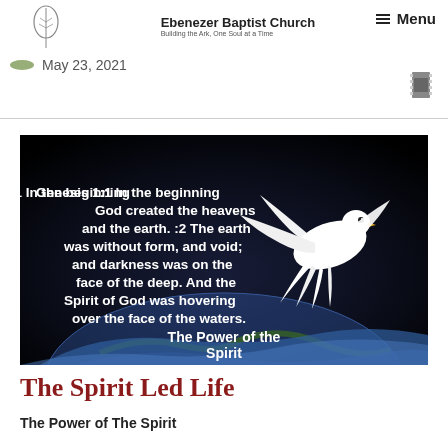Ebenezer Baptist Church — Building the Ark, One Soul at a Time | Menu
May 23, 2021
[Figure (illustration): Black background image with a white dove flying over a globe (Earth), with Genesis 1:1-2 scripture text and subtitle 'The Power of the Spirit' overlaid in white text.]
The Spirit Led Life
The Power of The Spirit